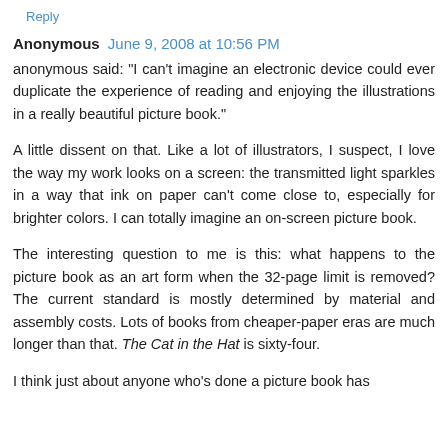Reply
Anonymous  June 9, 2008 at 10:56 PM
anonymous said: "I can't imagine an electronic device could ever duplicate the experience of reading and enjoying the illustrations in a really beautiful picture book."
A little dissent on that. Like a lot of illustrators, I suspect, I love the way my work looks on a screen: the transmitted light sparkles in a way that ink on paper can't come close to, especially for brighter colors. I can totally imagine an on-screen picture book.
The interesting question to me is this: what happens to the picture book as an art form when the 32-page limit is removed? The current standard is mostly determined by material and assembly costs. Lots of books from cheaper-paper eras are much longer than that. The Cat in the Hat is sixty-four.
I think just about anyone who's done a picture book has...